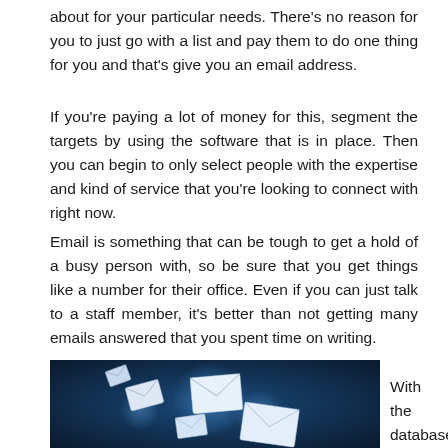about for your particular needs. There's no reason for you to just go with a list and pay them to do one thing for you and that's give you an email address.
If you're paying a lot of money for this, segment the targets by using the software that is in place. Then you can begin to only select people with the expertise and kind of service that you're looking to connect with right now.
Email is something that can be tough to get a hold of a busy person with, so be sure that you get things like a number for their office. Even if you can just talk to a staff member, it's better than not getting many emails answered that you spent time on writing.
[Figure (photo): Dark blue background with glowing envelope icons floating, suggesting email communication theme]
With the database you can